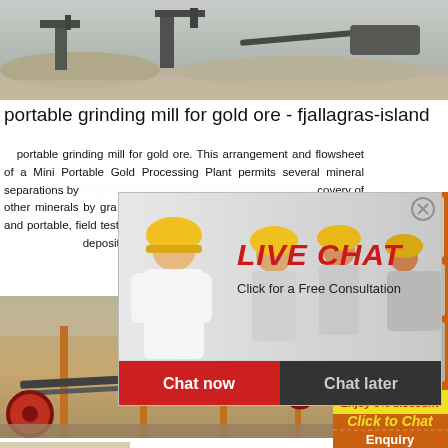[Figure (photo): Outdoor mining/quarry site with heavy machinery and equipment visible against a gray sky, with piles of aggregate material on the ground.]
portable grinding mill for gold ore - fjallagras-island
portable grinding mill for gold ore. This arrangement and flowsheet of a Mini Portable Gold Processing Plant permits several mineral separations by flotation and magnetic methods to allow the recovery of other minerals by gravity as well. This unit is ideal for testing. Small and portable, field testing of small gravel deposits is possible with this test unit on the deposit prior to large scale operations.
[Figure (screenshot): Live chat popup overlay showing person in white shirt with yellow-helmeted workers in background, red 'LIVE CHAT' text, 'Click for a Free Consultation' subtitle, and 'Chat now' (red) and 'Chat later' (dark) buttons.]
[Figure (photo): Mining site with orange conveyor belt structure and large red wheels in foreground, industrial mining equipment.]
[Figure (infographic): Orange advertisement panel on right side showing mining machinery images, 'Enjoy 3% discount' in yellow banner, 'Click to Chat' in yellow text, and 'Enquiry' at the bottom.]
[Figure (photo): Partial view of another mining or processing site image at bottom left.]